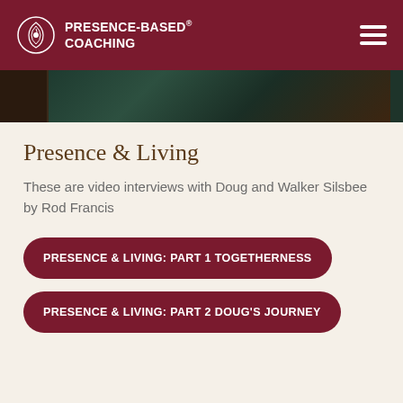PRESENCE-BASED® COACHING
[Figure (photo): Partial aerial or landscape photo strip showing dark green forested terrain]
Presence & Living
These are video interviews with Doug and Walker Silsbee by Rod Francis
PRESENCE & LIVING: PART 1 TOGETHERNESS
PRESENCE & LIVING: PART 2 DOUG'S JOURNEY
INTERVIEW